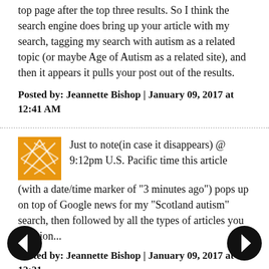top page after the top three results. So I think the search engine does bring up your article with my search, tagging my search with autism as a related topic (or maybe Age of Autism as a related site), and then it appears it pulls your post out of the results.
Posted by: Jeannette Bishop | January 09, 2017 at 12:41 AM
Just to note(in case it disappears) @ 9:12pm U.S. Pacific time this article (with a date/time marker of "3 minutes ago") pops up on top of Google news for my "Scotland autism" search, then followed by all the types of articles you mention...
Posted by: Jeannette Bishop | January 09, 2017 at 12:21